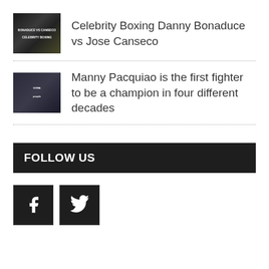[Figure (photo): Thumbnail image for Celebrity Boxing Danny Bonaduce vs Jose Canseco]
Celebrity Boxing Danny Bonaduce vs Jose Canseco
[Figure (photo): Thumbnail image for Manny Pacquiao article]
Manny Pacquiao is the first fighter to be a champion in four different decades
FOLLOW US
[Figure (infographic): Facebook and Twitter social media icon buttons]